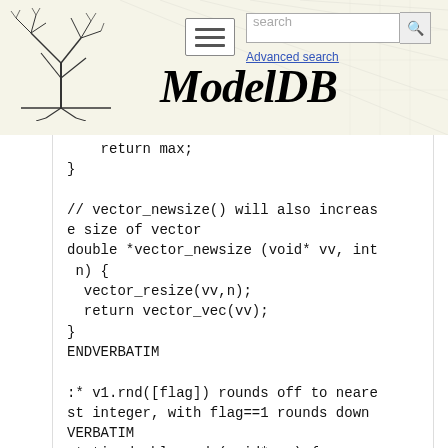ModelDB — Advanced search navigation header
return max;
}

// vector_newsize() will also increase size of vector
double *vector_newsize (void* vv, int n) {
  vector_resize(vv,n);
  return vector_vec(vv);
}
ENDVERBATIM

:* v1.rnd([flag]) rounds off to nearest integer, with flag==1 rounds down
VERBATIM
static double rnd (void* vv) {
  int i, n, flag;
  double *x;
  flag=(ifarg(1)?(int)*getarg(1):0);
  n = vector_instance_px(vv, &x);